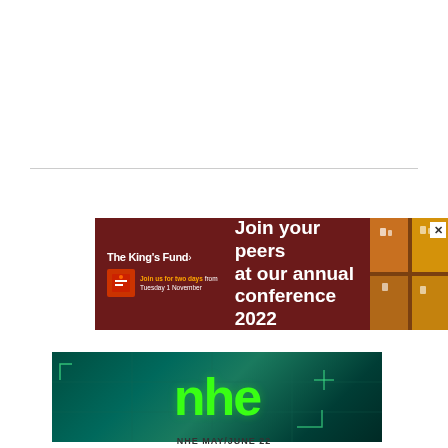[Figure (illustration): Horizontal divider line across page]
[Figure (illustration): Advertisement banner for The King's Fund annual conference 2022 on dark red background. Left side shows The King's Fund logo and 'Join us for two days from Tuesday 1 November'. Center shows large white text 'Join your peers at our annual conference 2022'. Right side shows decorative images of conference attendees. Close button X in top right corner.]
[Figure (photo): NHE (National Health Executive) magazine cover image showing bright green 'nhe' text logo on dark teal/green background with grid lines pattern]